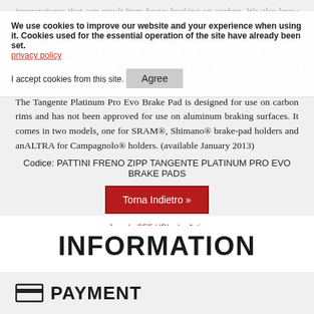temperatures that can result from heavy braking on carbon. We also know there remain faithful fans of cork, and its smooth, consistent feel. That's why Zipp is still offering the Tangente High Performance Cork Brake Pad. But we designed the Tangente Platinum Pro Evo to provide that same predictable ride during the many lighter brake touches required to navigate turns or group rides.
The Tangente Platinum Pro Evo Brake Pad is designed for use on carbon rims and has not been approved for use on aluminum braking surfaces. It comes in two models, one for SRAM®, Shimano® brake-pad holders and anALTRA for Campagnolo® holders. (available January 2013)
Codice: PATTINI FRENO ZIPP TANGENTE PLATINUM PRO EVO BRAKE PADS
Torna Indietro »
We use cookies to improve our website and your experience when using it. Cookies used for the essential operation of the site have already been set. privacy policy
I accept cookies from this site.
Agree
Joomla SEF URLs by Artio
INFORMATION
PAYMENT